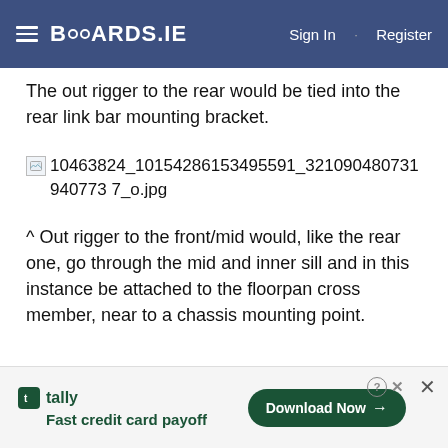BOARDS.IE  Sign In · Register
The out rigger to the rear would be tied into the rear link bar mounting bracket.
[Figure (photo): Broken/unloaded image with filename: 10463824_10154286153495591_321090480731940773 7_o.jpg]
^ Out rigger to the front/mid would, like the rear one, go through the mid and inner sill and in this instance be attached to the floorpan cross member, near to a chassis mounting point.
tally  Fast credit card payoff  Download Now ×